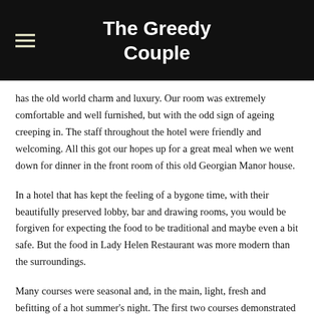The Greedy Couple
has the old world charm and luxury. Our room was extremely comfortable and well furnished, but with the odd sign of ageing creeping in. The staff throughout the hotel were friendly and welcoming. All this got our hopes up for a great meal when we went down for dinner in the front room of this old Georgian Manor house.
In a hotel that has kept the feeling of a bygone time, with their beautifully preserved lobby, bar and drawing rooms, you would be forgiven for expecting the food to be traditional and maybe even a bit safe. But the food in Lady Helen Restaurant was more modern than the surroundings.
Many courses were seasonal and, in the main, light, fresh and befitting of a hot summer's night. The first two courses demonstrated this well. An elevated beetroot and goats